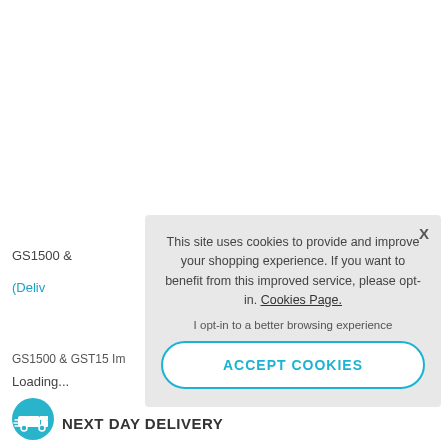GS1500 &
(Deliv
GS1500 & GST15 Im
Loading...
[Figure (illustration): Teal circular delivery van icon for Next Day Delivery]
NEXT DAY DELIVERY
This site uses cookies to provide and improve your shopping experience. If you want to benefit from this improved service, please opt-in. Cookies Page.

I opt-in to a better browsing experience
ACCEPT COOKIES